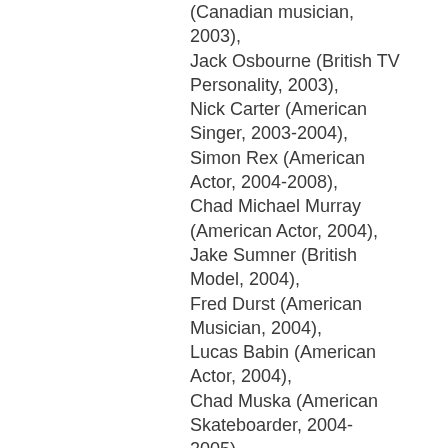(Canadian musician, 2003),
Jack Osbourne (British TV Personality, 2003),
Nick Carter (American Singer, 2003-2004),
Simon Rex (American Actor, 2004-2008),
Chad Michael Murray (American Actor, 2004),
Jake Sumner (British Model, 2004),
Fred Durst (American Musician, 2004),
Lucas Babin (American Actor, 2004),
Chad Muska (American Skateboarder, 2004-2005),
Paris Kai (American Actor,